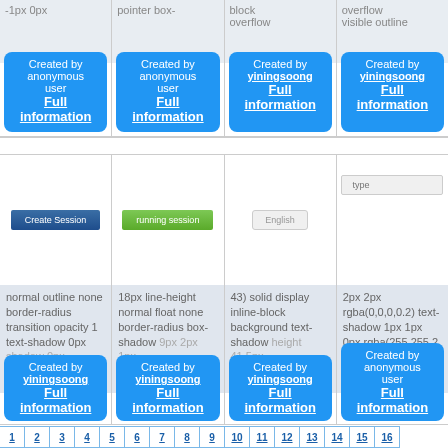[Figure (screenshot): Top row of 4 CSS snippet cards each with tooltip overlay showing creator info and Full information link]
[Figure (screenshot): Bottom row of 4 CSS snippet cards with button previews and CSS property text, each with creator tooltip]
1 2 3 4 5 6 7 8 9 10 11 12 13 14 15 16